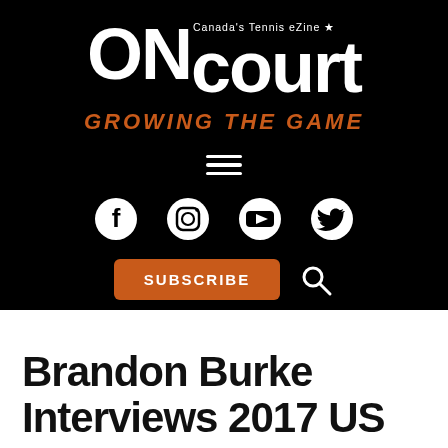[Figure (logo): ONcourt logo — Canada's Tennis eZine — with tagline GROWING THE GAME in orange italic]
[Figure (infographic): Hamburger menu icon (three white horizontal lines)]
[Figure (infographic): Social media icons row: Facebook, Instagram, YouTube, Twitter — white on black]
[Figure (infographic): SUBSCRIBE orange button and search magnifying glass icon]
Brandon Burke Interviews 2017 US